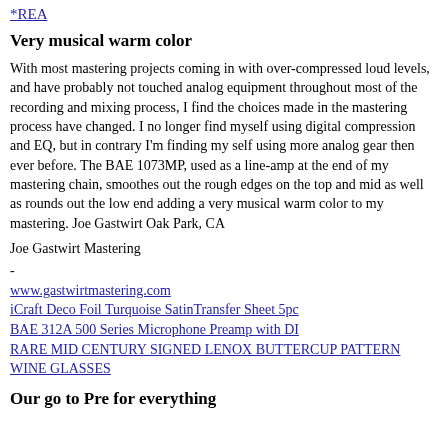*REA
Very musical warm color
With most mastering projects coming in with over-compressed loud levels, and have probably not touched analog equipment throughout most of the recording and mixing process, I find the choices made in the mastering process have changed. I no longer find myself using digital compression and EQ, but in contrary I'm finding my self using more analog gear then ever before. The BAE 1073MP, used as a line-amp at the end of my mastering chain, smoothes out the rough edges on the top and mid as well as rounds out the low end adding a very musical warm color to my mastering. Joe Gastwirt Oak Park, CA
Joe Gastwirt Mastering
-
www.gastwirtmastering.com
iCraft Deco Foil Turquoise SatinTransfer Sheet 5pc
BAE 312A 500 Series Microphone Preamp with DI
RARE MID CENTURY SIGNED LENOX BUTTERCUP PATTERN WINE GLASSES
Our go to Pre for everything